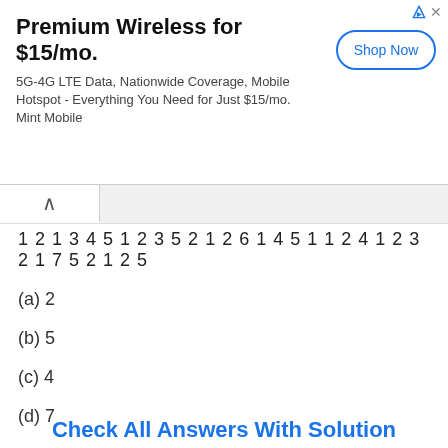[Figure (other): Advertisement banner for Mint Mobile: 'Premium Wireless for $15/mo. 5G-4G LTE Data, Nationwide Coverage, Mobile Hotspot - Everything You Need for Just $15/mo. Mint Mobile' with a Shop Now button]
1 2 1 3 4 5 1 2 3 5 2 1 2 6 1 4 5 1 1 2 4 1 2 3 2 1 7 5 2 1 2 5
(a) 2
(b) 5
(c) 4
(d) 7
Check All Answers With Solution